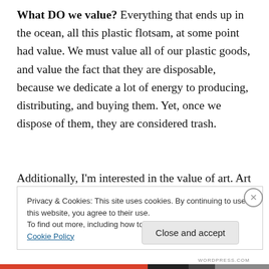What DO we value? Everything that ends up in the ocean, all this plastic flotsam, at some point had value. We must value all of our plastic goods, and value the fact that they are disposable, because we dedicate a lot of energy to producing, distributing, and buying them. Yet, once we dispose of them, they are considered trash.

Additionally, I'm interested in the value of art. Art ain't cheap – nor do I think it should be, although clearly I'm biased. But what is it really worth? And who can afford it?
Privacy & Cookies: This site uses cookies. By continuing to use this website, you agree to their use.
To find out more, including how to control cookies, see here: Cookie Policy
Close and accept